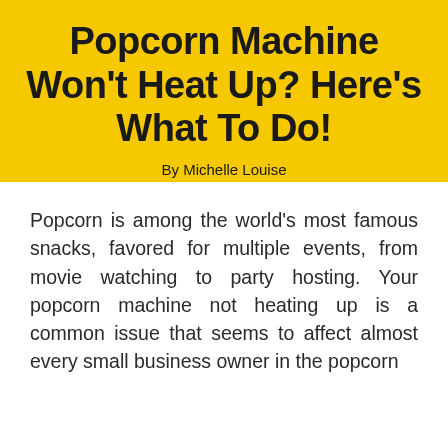Popcorn Machine Won't Heat Up? Here's What To Do!
By Michelle Louise
Popcorn is among the world's most famous snacks, favored for multiple events, from movie watching to party hosting. Your popcorn machine not heating up is a common issue that seems to affect almost every small business owner in the popcorn